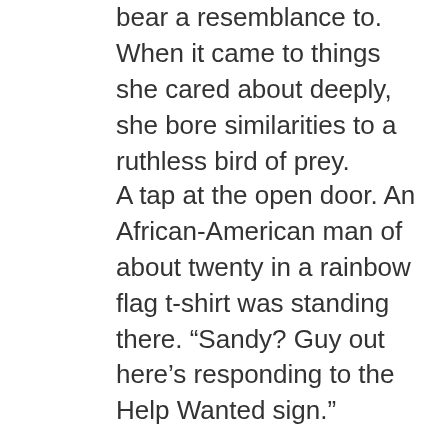bear a resemblance to. When it came to things she cared about deeply, she bore similarities to a ruthless bird of prey.
A tap at the open door. An African-American man of about twenty in a rainbow flag t-shirt was standing there. “Sandy? Guy out here’s responding to the Help Wanted sign.”
She rubbed her temples. “Thanks, Jeffrey. Send him in.”
A moment later one of the largest men she’d ever seen appeared at the doorway. He was closer to seven feet